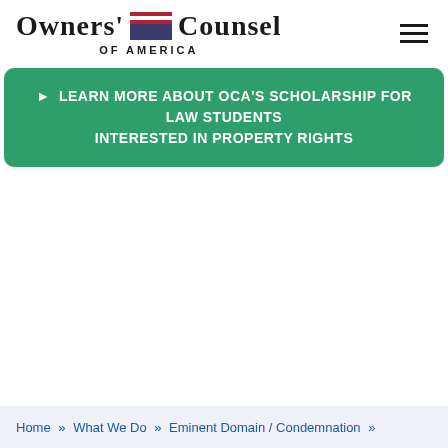[Figure (logo): Owners' Counsel of America logo with American flag icon between the words]
► LEARN MORE ABOUT OCA'S SCHOLARSHIP FOR LAW STUDENTS INTERESTED IN PROPERTY RIGHTS
Home » What We Do » Eminent Domain / Condemnation »